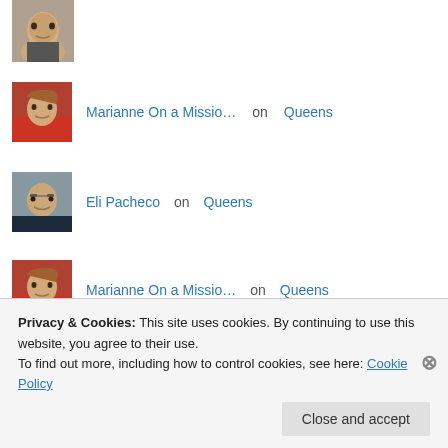[Figure (photo): Partial avatar photo of a man, cropped at top]
Marianne On a Missio… on Queens
Eli Pacheco on Queens
Marianne On a Missio… on Queens
jlennidorner on Queens
Privacy & Cookies: This site uses cookies. By continuing to use this website, you agree to their use. To find out more, including how to control cookies, see here: Cookie Policy
Close and accept